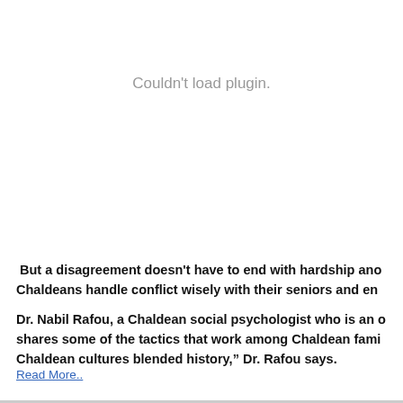[Figure (other): Plugin area showing 'Couldn't load plugin.' message in gray text]
But a disagreement doesn't have to end with hardship ano Chaldeans handle conflict wisely with their seniors and en
Dr. Nabil Rafou, a Chaldean social psychologist who is an shares some of the tactics that work among Chaldean fam Chaldean cultures blended history," Dr. Rafou says.
Read More..